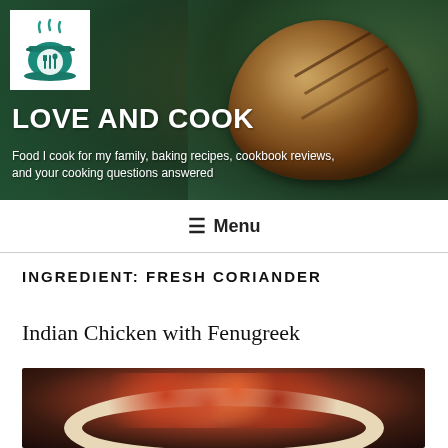[Figure (photo): Hero banner with background foliage/greenery, a rustic artisan bread loaf on the right, and a white square logo box with teal cooking pot icon on the left]
LOVE AND COOK
Food I cook for my family, baking recipes, cookbook reviews, and your cooking questions answered
≡ Menu
INGREDIENT: FRESH CORIANDER
Indian Chicken with Fenugreek
[Figure (photo): Photo of Indian chicken dish with red peppers and green coriander garnish served on a cream/beige rimmed plate]